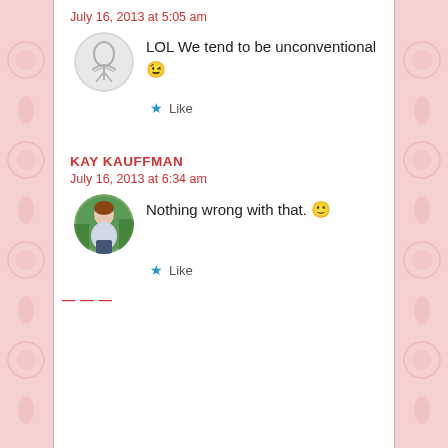July 16, 2013 at 5:05 am
LOL We tend to be unconventional 😉
★ Like
KAY KAUFFMAN
July 16, 2013 at 6:34 am
Nothing wrong with that. 🙂
★ Like